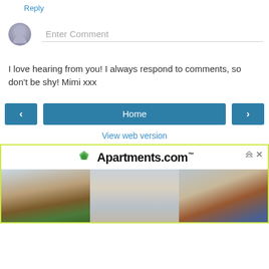Reply
Enter Comment
I love hearing from you! I always respond to comments, so don't be shy! Mimi xxx
‹
Home
›
View web version
[Figure (screenshot): Apartments.com advertisement banner with logo and three apartment photos below]